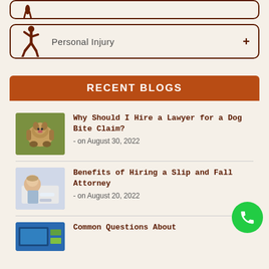[Figure (other): Partial top menu item with silhouette icon (cropped at top)]
Personal Injury +
RECENT BLOGS
[Figure (photo): Photo of a dog (Jack Russell terrier type)]
Why Should I Hire a Lawyer for a Dog Bite Claim?
- on August 30, 2022
[Figure (photo): Photo of a person sitting with injured leg/cast]
Benefits of Hiring a Slip and Fall Attorney
- on August 20, 2022
[Figure (photo): Photo related to common questions (partially visible)]
Common Questions About